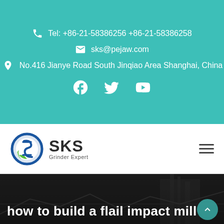Tel: +86-21-58386256 +86-21-58386258
sks@pejaw.com
No.416 Jianye Road South Jinqiao Area Shanghai, China
[Figure (logo): Social media icons: Facebook, Twitter, YouTube]
[Figure (logo): SKS Grinder Expert logo with circular emblem in blue and green, text 'SKS' and 'Grinder Expert']
[Figure (photo): Dark industrial background with construction/mining equipment]
how to build a flail impact mill